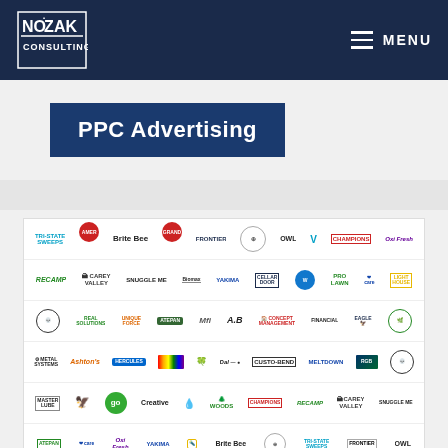[Figure (logo): Nozak Consulting logo - white text on dark navy background]
MENU
PPC Advertising
[Figure (other): Collage of client company logos arranged in a grid, including: Tri-State Sweeps, Brite Bee, OWL, Champions, Oxi Fresh, Recamp, Carey Valley, Snuggle Me, Yakima, Cellar Door, Pro Lawn, Eagle, A.B., Creative, Kanzen, Custo-Bend, MeltDown, Hercules, and many others]